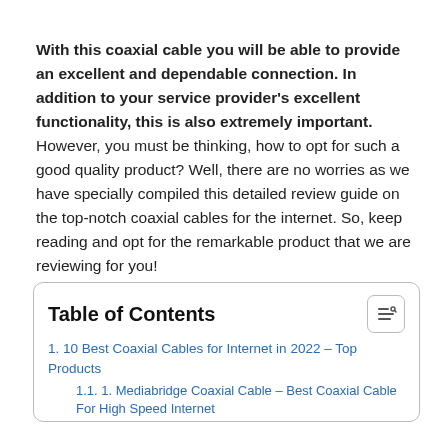With this coaxial cable you will be able to provide an excellent and dependable connection.  In addition to your service provider's excellent functionality, this is also extremely important. However, you must be thinking, how to opt for such a good quality product? Well, there are no worries as we have specially compiled this detailed review guide on the top-notch coaxial cables for the internet. So, keep reading and opt for the remarkable product that we are reviewing for you!
| 1. 10 Best Coaxial Cables for Internet in 2022 – Top Products |
| 1.1. 1. Mediabridge Coaxial Cable – Best Coaxial Cable For High Speed Internet |